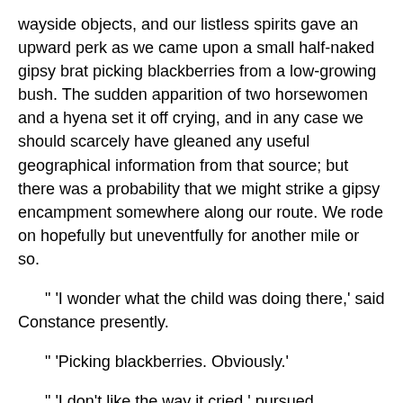wayside objects, and our listless spirits gave an upward perk as we came upon a small half-naked gipsy brat picking blackberries from a low-growing bush. The sudden apparition of two horsewomen and a hyena set it off crying, and in any case we should scarcely have gleaned any useful geographical information from that source; but there was a probability that we might strike a gipsy encampment somewhere along our route. We rode on hopefully but uneventfully for another mile or so.
" 'I wonder what the child was doing there,' said Constance presently.
" 'Picking blackberries. Obviously.'
" 'I don't like the way it cried,' pursued Constance; 'somehow its wail keeps ringing in my ears.'